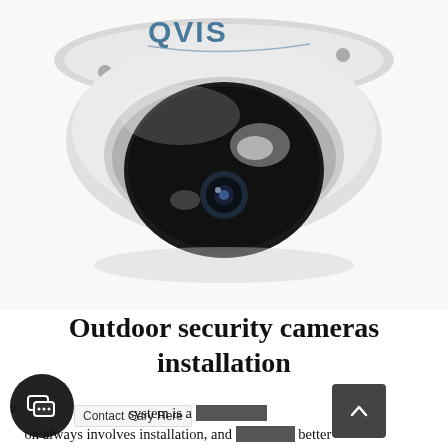[Figure (photo): A white QVIS dome-style outdoor security camera viewed from above, showing the dark tinted dome lens housing. The QVIS brand logo is visible on the top of the camera body in blue and grey text.]
Outdoor security cameras installation
Contact Gary Here  system is a purchase on always involves installation, and no one better than CCTV Installation Burnley Video Security to guide